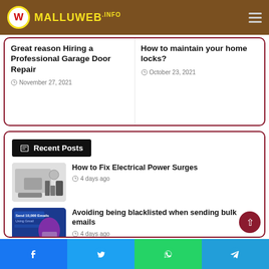MALLUWEB.INFO
Great reason Hiring a Professional Garage Door Repair
November 27, 2021
How to maintain your home locks?
October 23, 2021
Recent Posts
How to Fix Electrical Power Surges
4 days ago
Avoiding being blacklisted when sending bulk emails
4 days ago